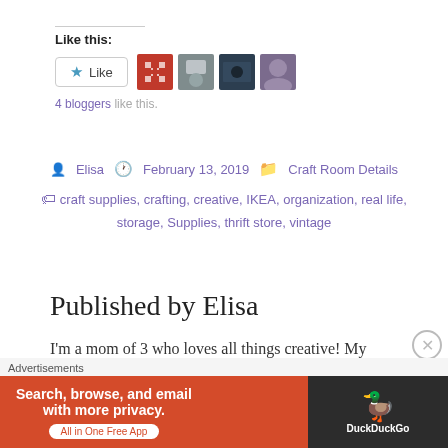Like this:
[Figure (other): Like button with star icon and four blogger avatar thumbnails]
4 bloggers like this.
Elisa  February 13, 2019  Craft Room Details
craft supplies, crafting, creative, IKEA, organization, real life, storage, Supplies, thrift store, vintage
Published by Elisa
I'm a mom of 3 who loves all things creative! My current passion is bible journaling, a creative outlet
Advertisements
[Figure (other): DuckDuckGo advertisement banner: Search, browse, and email with more privacy. All in One Free App.]